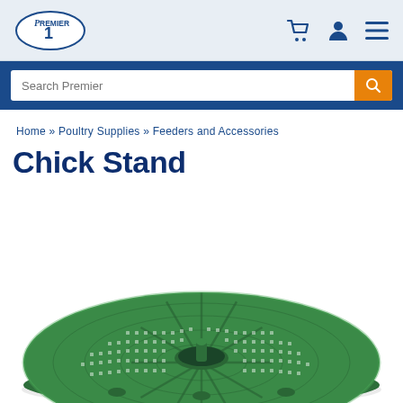Premier1 — navigation bar with logo, cart, account, and menu icons
Search Premier
Home » Poultry Supplies » Feeders and Accessories
Chick Stand
[Figure (photo): Green plastic circular chick stand with mesh grid surface and central hole with tab, viewed from slightly above at an angle]